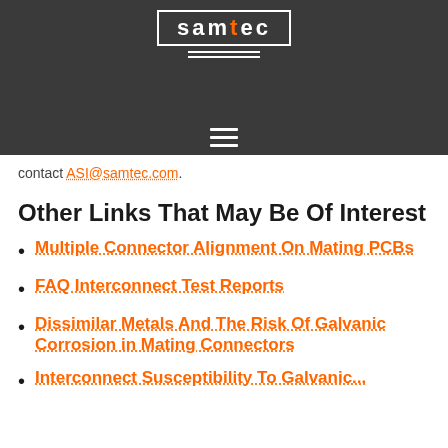[Figure (logo): Samtec logo in white on dark grey header bar, with orange cross on t, white border box, and two white horizontal lines beneath]
[Figure (other): Hamburger menu icon (three horizontal white lines) on dark grey background]
contact ASI@samtec.com.
Other Links That May Be Of Interest
Multiple Connector Alignment On Mating PCBs
FAQ Interconnect Test Reports
Dissimilar Metals And The Risk Of Galvanic Corrosion in Mating Connectors
Interconnect Susceptibility To Galvanic...